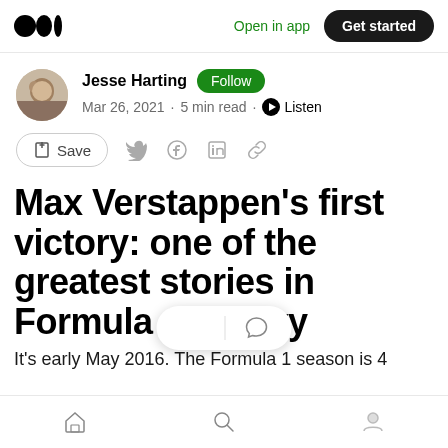Open in app  Get started
Jesse Harting · Follow · Mar 26, 2021 · 5 min read · Listen
Save
Max Verstappen's first victory: one of the greatest stories in Formula 1 history
It's early May 2016. The Formula 1 season is 4